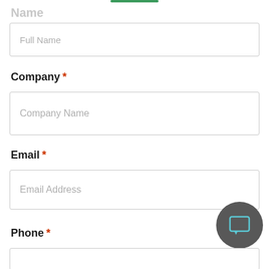Name
Full Name
Company *
Company Name
Email *
Email Address
Phone *